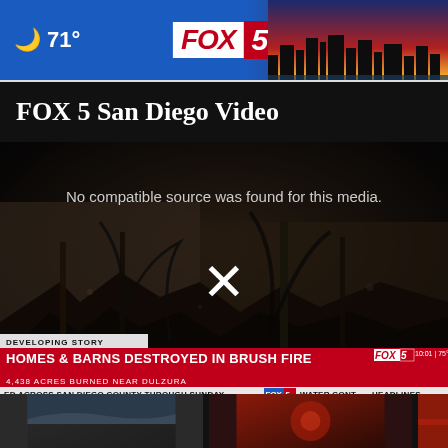🌙 71° FOX 5 LIVE
FOX 5 San Diego Video
[Figure (screenshot): Video player showing fire damage scene — burned homes and barns rubble — with 'No compatible source was found for this media.' message and an X icon. Lower thirds show: DEVELOPING STORY / HOMES & BARNS DESTROYED IN BRUSH FIRE / 4,438 ACRES BURNED NEAR DULZURA / FOX 5 bug / 10:01 | 75° / Ticker: ED ACROSS SAN DIEGO COUNTY THROUGH SUNDAY / FOX 5 / WATER CONT / HEADLINES]
[Figure (photo): Two thumbnail images at the bottom of the page: one showing a news scene and one showing a red/fire scene]